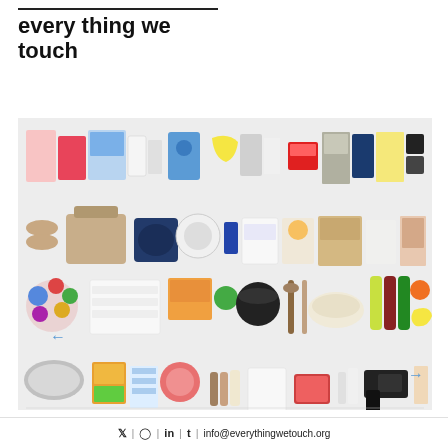every thing we touch
[Figure (photo): Flat-lay photo collage showing multiple rows of everyday household and personal items arranged neatly on a light background, including clothing, bags, toys, food, kitchen utensils, toiletries, and electronics. Navigation arrows (left and right) are visible on the sides.]
🐦 | 📷 | in | t | info@everythingwetouch.org